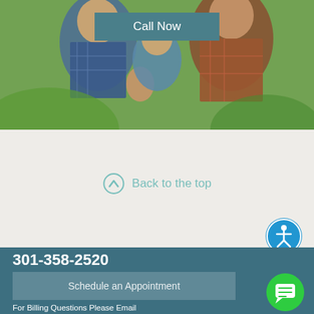[Figure (photo): Family photo showing adults and a child outdoors with greenery in background]
Call Now
Back to the top
[Figure (other): Accessibility icon - circular blue button with person figure]
301-358-2520
Schedule an Appointment
For Billing Questions Please Email Billing@smileteeth.com
[Figure (other): Green chat bubble button]